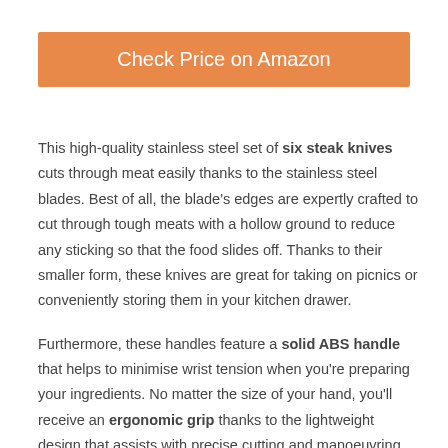Check Price on Amazon
This high-quality stainless steel set of six steak knives cuts through meat easily thanks to the stainless steel blades. Best of all, the blade's edges are expertly crafted to cut through tough meats with a hollow ground to reduce any sticking so that the food slides off. Thanks to their smaller form, these knives are great for taking on picnics or conveniently storing them in your kitchen drawer.
Furthermore, these handles feature a solid ABS handle that helps to minimise wrist tension when you're preparing your ingredients. No matter the size of your hand, you'll receive an ergonomic grip thanks to the lightweight design that assists with precise cutting and manoeuvring.